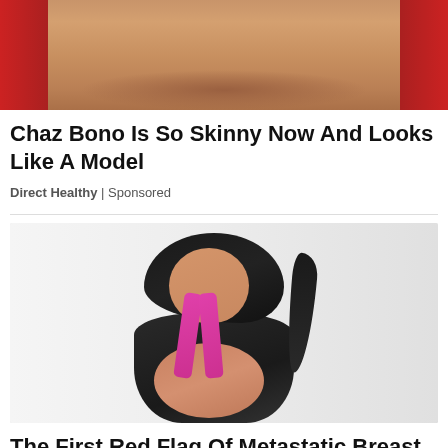[Figure (photo): Close-up photo of a heavy-set person's face and neck area, with red elements visible on the sides]
Chaz Bono Is So Skinny Now And Looks Like A Model
Direct Healthy | Sponsored
[Figure (photo): Photo of a young woman in a dark sports bra with pink straps, holding her chest/heart area, suggesting chest pain]
The First Red Flag Of Metastatic Breast Cancer (Write This Down)